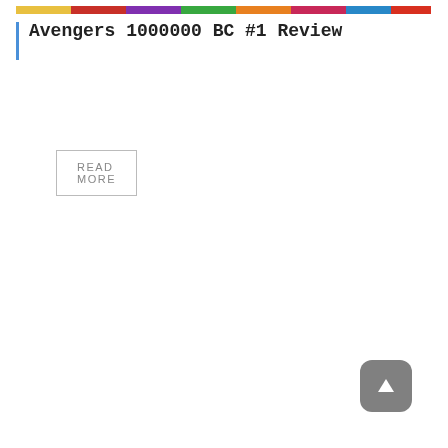[Figure (illustration): Colorful comic book banner image showing Marvel superhero characters with vibrant colors at the top of the page]
Avengers 1000000 BC #1 Review
READ MORE